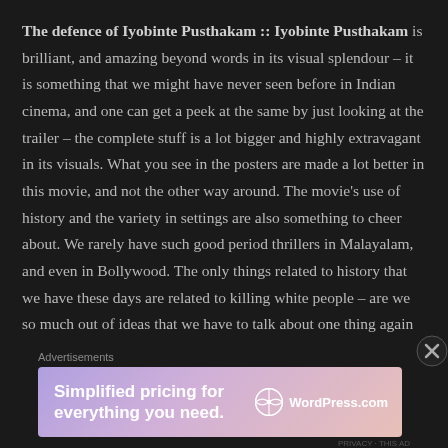The defence of Iyobinte Pusthakam :: Iyobinte Pusthakam is brilliant, and amazing beyond words in its visual splendour – it is something that we might have never seen before in Indian cinema, and one can get a peek at the same by just looking at the trailer – the complete stuff is a lot bigger and highly extravagant in its visuals. What you see in the posters are made a lot better in this movie, and not the other way around. The movie's use of history and the variety in settings are also something to cheer about. We rarely have such good period thrillers in Malayalam, and even in Bollywood. The only things related to history that we have these days are related to killing white people – are we so much out of ideas that we have to talk about one thing again and again? No, not all, says Amal Neerad who has come up with his magnum opus here, which tells the
Advertisements
[Figure (other): WordPress.com advertisement banner with gradient purple-pink background. Text: 'Simplified pricing for everything you need.' with WordPress.com logo on the right.]